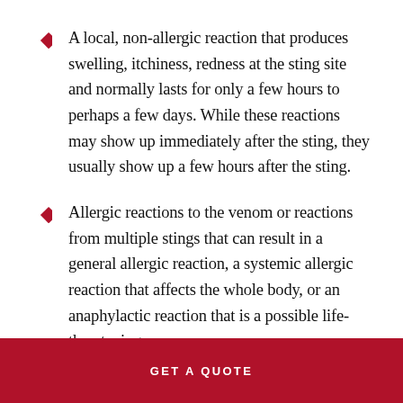A local, non-allergic reaction that produces swelling, itchiness, redness at the sting site and normally lasts for only a few hours to perhaps a few days. While these reactions may show up immediately after the sting, they usually show up a few hours after the sting.
Allergic reactions to the venom or reactions from multiple stings that can result in a general allergic reaction, a systemic allergic reaction that affects the whole body, or an anaphylactic reaction that is a possible life-threatening
GET A QUOTE